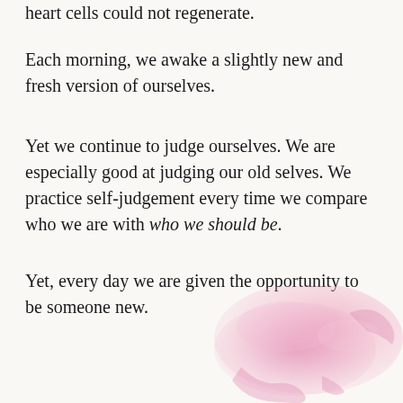heart cells could not regenerate.
Each morning, we awake a slightly new and fresh version of ourselves.
Yet we continue to judge ourselves. We are especially good at judging our old selves. We practice self-judgement every time we compare who we are with who we should be.
Yet, every day we are given the opportunity to be someone new.
[Figure (illustration): Pink watercolor blob/splash in the bottom right corner of the page]